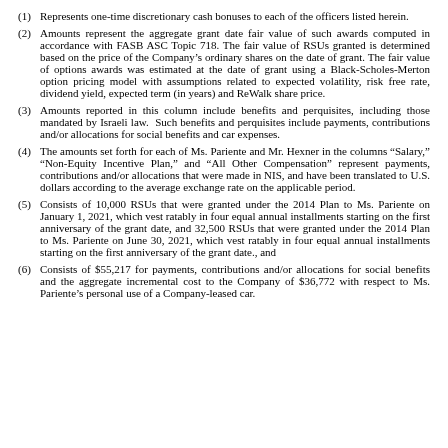(1) Represents one-time discretionary cash bonuses to each of the officers listed herein.
(2) Amounts represent the aggregate grant date fair value of such awards computed in accordance with FASB ASC Topic 718. The fair value of RSUs granted is determined based on the price of the Company’s ordinary shares on the date of grant. The fair value of options awards was estimated at the date of grant using a Black-Scholes-Merton option pricing model with assumptions related to expected volatility, risk free rate, dividend yield, expected term (in years) and ReWalk share price.
(3) Amounts reported in this column include benefits and perquisites, including those mandated by Israeli law.  Such benefits and perquisites include payments, contributions and/or allocations for social benefits and car expenses.
(4) The amounts set forth for each of Ms. Pariente and Mr. Hexner in the columns “Salary,” “Non-Equity Incentive Plan,” and “All Other Compensation” represent payments, contributions and/or allocations that were made in NIS, and have been translated to U.S. dollars according to the average exchange rate on the applicable period.
(5) Consists of 10,000 RSUs that were granted under the 2014 Plan to Ms. Pariente on January 1, 2021, which vest ratably in four equal annual installments starting on the first anniversary of the grant date, and 32,500 RSUs that were granted under the 2014 Plan to Ms. Pariente on June 30, 2021, which vest ratably in four equal annual installments starting on the first anniversary of the grant date., and
(6) Consists of $55,217 for payments, contributions and/or allocations for social benefits and the aggregate incremental cost to the Company of $36,772 with respect to Ms. Pariente’s personal use of a Company-leased car.